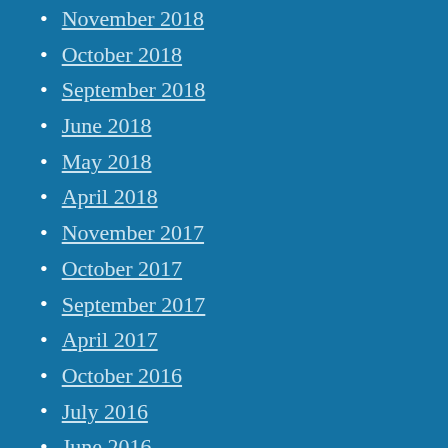November 2018
October 2018
September 2018
June 2018
May 2018
April 2018
November 2017
October 2017
September 2017
April 2017
October 2016
July 2016
June 2016
May 2016
April 2016
March 2016
February 2016